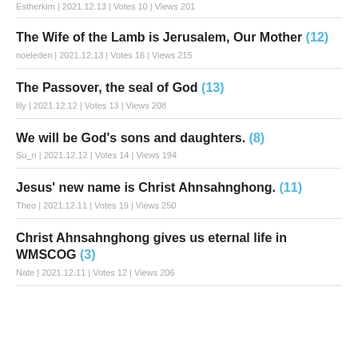Estherkim | 2021.12.13 | Votes 10 | Views 201
The Wife of the Lamb is Jerusalem, Our Mother (12)
noeleden | 2021.12.13 | Votes 16 | Views 215
The Passover, the seal of God (13)
lily | 2021.12.12 | Votes 13 | Views 208
We will be God's sons and daughters. (8)
Su_ri | 2021.12.12 | Votes 14 | Views 194
Jesus' new name is Christ Ahnsahnghong. (11)
Theo | 2021.12.11 | Votes 19 | Views 250
Christ Ahnsahnghong gives us eternal life in WMSCOG (3)
Nate | 2021.12.11 | Votes 12 | Views 206